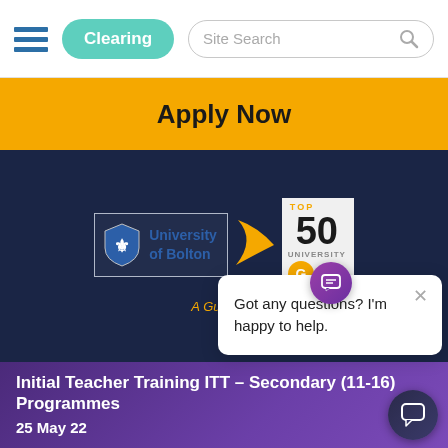Clearing | Site Search
Apply Now
[Figure (logo): University of Bolton logo with swoosh arrow and Guardian Top 50 University badge on dark navy background]
Got any questions? I'm happy to help.
Initial Teacher Training ITT – Secondary (11-16) Programmes
25 May 22